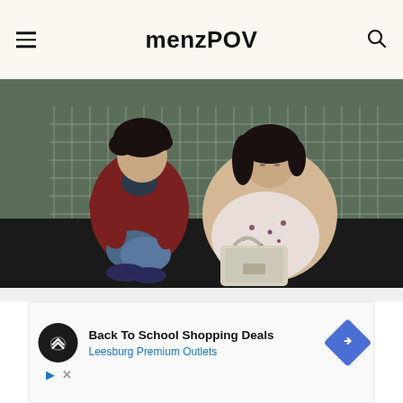menzPOV
[Figure (photo): Two people sitting against a metal wire fence outdoors. On the left, a young man with curly hair wearing a red jacket and jeans crouches down. On the right, a young woman with dark hair wearing a floral dress and beige coat sits on the ground holding a bag.]
[Figure (screenshot): Advertisement banner: Back To School Shopping Deals - Leesburg Premium Outlets, with a dark circular logo with overlapping arrows, a blue diamond navigation arrow, and ad control icons (play and close).]